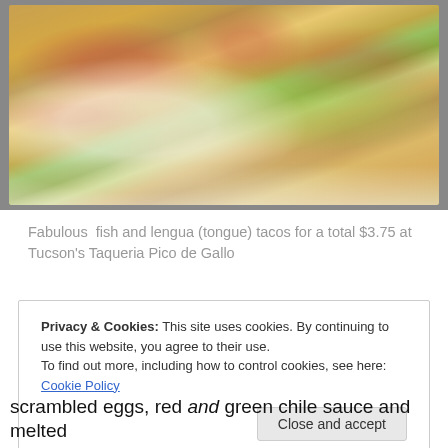[Figure (photo): Photo of fish and lengua (tongue) tacos on a white plate, topped with shredded lettuce, red salsa, sour cream, cilantro, and hot sauce]
Fabulous  fish and lengua (tongue) tacos for a total $3.75 at Tucson's Taqueria Pico de Gallo
Privacy & Cookies: This site uses cookies. By continuing to use this website, you agree to their use.
To find out more, including how to control cookies, see here: Cookie Policy
scrambled eggs, red and green chile sauce and melted